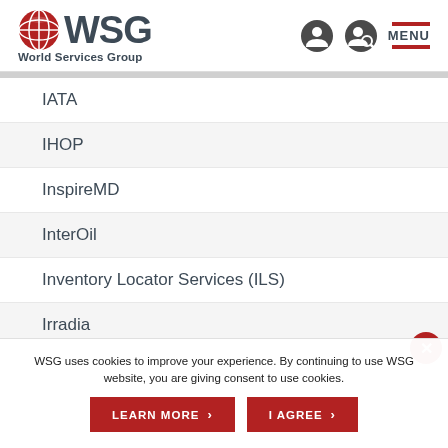[Figure (logo): WSG World Services Group logo with red globe icon and dark gray text]
IATA
IHOP
InspireMD
InterOil
Inventory Locator Services (ILS)
Irradia
WSG uses cookies to improve your experience. By continuing to use WSG website, you are giving consent to use cookies.
LEARN MORE
I AGREE